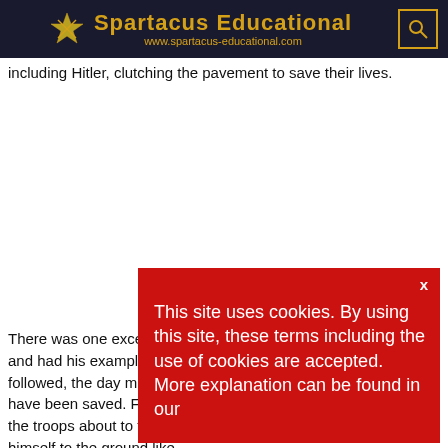Spartacus Educational www.spartacus-educational.com
including Hitler, clutching the pavement to save their lives.
There was one exception, and had his example been followed, the day might have been saved. Facing the troops about to fling himself to the ground like the rest, he
[Figure (screenshot): Cookie consent overlay popup with red background. Text reads: 'This site uses cookies. By using this site, these terms including the use of cookies are accepted. More explanation can be found in our' with an X close button in the upper right.]